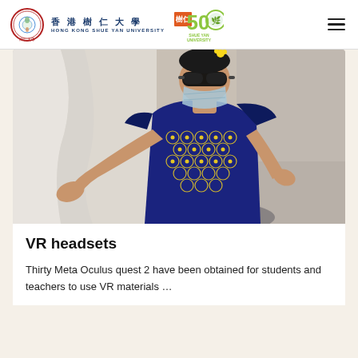[Figure (logo): Hong Kong Shue Yan University logo: circular emblem with Chinese text, red border, plus university name in Chinese and English, alongside a 50th anniversary logo]
[Figure (photo): A person wearing VR/AR glasses and a face mask, dressed in a dark blue patterned dress, extending one arm outward in what appears to be a VR experience session in an indoor setting]
VR headsets
Thirty Meta Oculus quest 2 have been obtained for students and teachers to use VR materials …